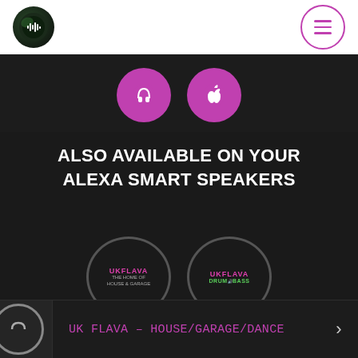[Figure (screenshot): Website header bar with circular logo (dark green/black with audio waveform icon) on left and circular menu button (pink/purple border with three horizontal lines) on right, on white background]
[Figure (screenshot): Two partially visible pink/purple circular app store buttons at top of dark background section]
ALSO AVAILABLE ON YOUR ALEXA SMART SPEAKERS
[Figure (screenshot): Two Alexa device icons showing UKFLAVA logos - left one says 'UKFLAVA THE HOME OF HOUSE & GARAGE', right one says 'UKFLAVA DRUM&BASS']
Send Us Your Shouts
UK FLAVA – HOUSE/GARAGE/DANCE